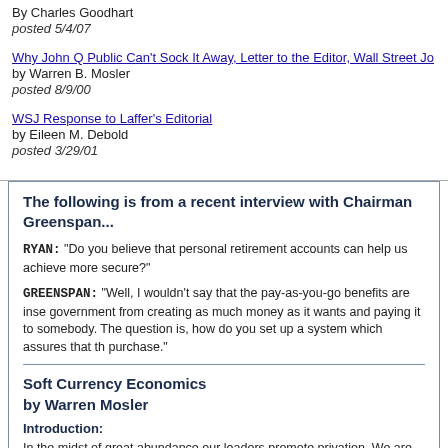By Charles Goodhart
posted 5/4/07
Why John Q Public Can't Sock It Away, Letter to the Editor, Wall Street Jo...
by Warren B. Mosler
posted 8/9/00
WSJ Response to Laffer's Editorial
by Eileen M. Debold
posted 3/29/01
The following is from a recent interview with Chairman Greenspan...
RYAN: "Do you believe that personal retirement accounts can help us achieve more secure?"
GREENSPAN: "Well, I wouldn't say that the pay-as-you-go benefits are insec... government from creating as much money as it wants and paying it to somebody. The question is, how do you set up a system which assures that th... purchase."
Soft Currency Economics
by Warren Mosler
Introduction:
In the midst of great abundance our leaders promote privation. We are told...